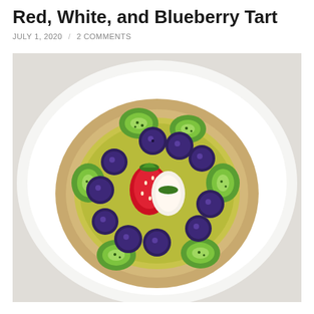Red, White, and Blueberry Tart
JULY 1, 2020 / 2 COMMENTS
[Figure (photo): Overhead close-up photo of a fruit tart on a white plate, topped with blueberries, sliced strawberries, and kiwi pieces arranged in a circular pattern on a pastry base.]